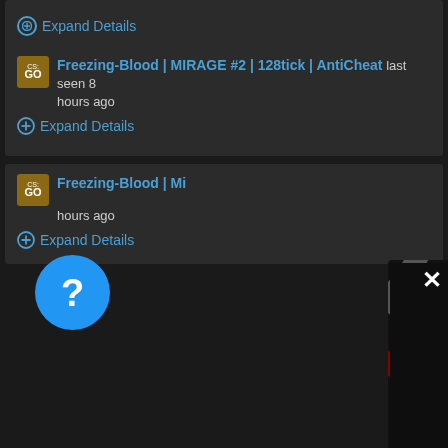⊕ Expand Details
Freezing-Blood | MIRAGE #2 | 128tick | AntiCheat last seen 8 hours ago
⊕ Expand Details
Freezing-Blood | Mi... hours ago
⊕ Expand Details
[Figure (screenshot): Dark themed video/media player overlay showing a magnifying glass with blue pause bars icon, a mute icon, and a white X close button in top right corner]
Freezing-Blood | MIRAGE #2 | 128tick | AntiCheat last seen 8 hours ago
⊕ and Details
Freezing-Blood | MIRAGE #2 | 128tick | AntiCheat last seen 8 hours ago